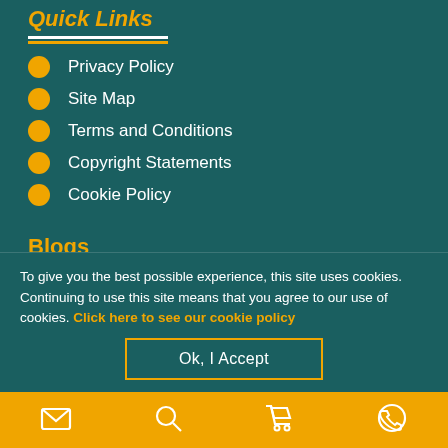Quick Links
Privacy Policy
Site Map
Terms and Conditions
Copyright Statements
Cookie Policy
Blogs
Apple to Sue Medical Firms Over Use Of "Eye Pad"
To give you the best possible experience, this site uses cookies. Continuing to use this site means that you agree to our use of cookies. Click here to see our cookie policy
Ok, I Accept